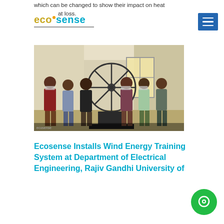which can be changed to show their impact on heat at loss.
[Figure (logo): Ecosense logo with eco in gold/yellow and sense in cyan, with a small orange dot above the s]
[Figure (photo): Group of six men standing in a room in front of a large industrial fan/wind training equipment, some wearing face masks]
Ecosense Installs Wind Energy Training System at Department of Electrical Engineering, Rajiv Gandhi University of